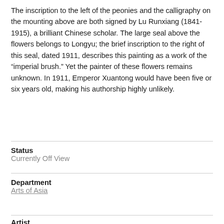The inscription to the left of the peonies and the calligraphy on the mounting above are both signed by Lu Runxiang (1841-1915), a brilliant Chinese scholar. The large seal above the flowers belongs to Longyu; the brief inscription to the right of this seal, dated 1911, describes this painting as a work of the “imperial brush.” Yet the painter of these flowers remains unknown. In 1911, Emperor Xuantong would have been five or six years old, making his authorship highly unlikely.
Status
Currently Off View
Department
Arts of Asia
Artist